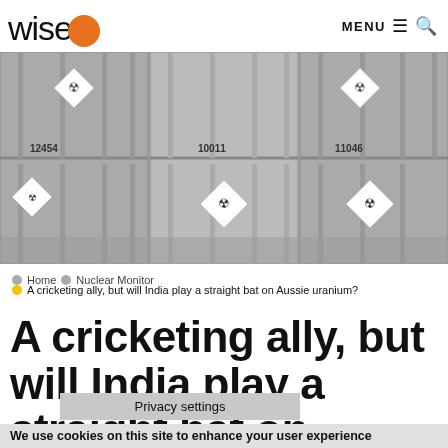wise MENU
[Figure (photo): Black and white photo of shipping containers with radioactive material hazard diamond symbols and numbers 12454, 10011, 11046 visible on the containers]
Home • Nuclear Monitor
A cricketing ally, but will India play a straight bat on Aussie uranium?
A cricketing ally, but will India play a straight bat on Aussie ura…
Privacy settings
We use cookies on this site to enhance your user experience